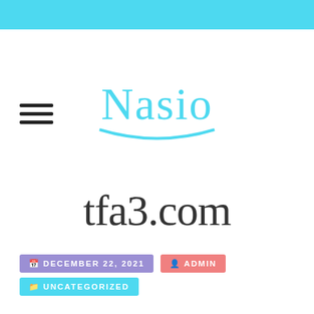[Figure (logo): Nasio script logo in light blue with a curved underline]
tfa3.com
DECEMBER 22, 2021  ADMIN  UNCATEGORIZED